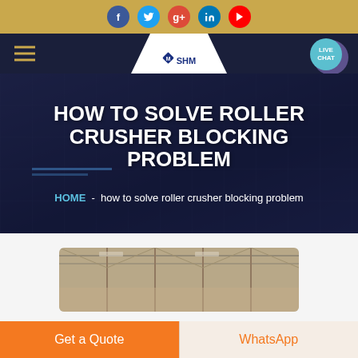Social icons: Facebook, Twitter, Google+, LinkedIn, YouTube
[Figure (screenshot): Website navigation bar with hamburger menu, SHM logo (diamond shape), and LIVE CHAT button]
HOW TO SOLVE ROLLER CRUSHER BLOCKING PROBLEM
HOME - how to solve roller crusher blocking problem
[Figure (photo): Industrial building interior showing roof trusses and structural elements]
Get a Quote
WhatsApp